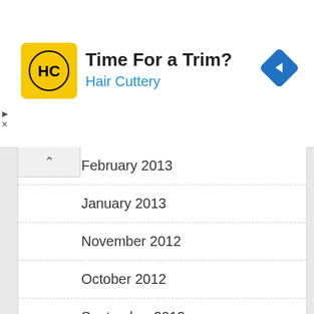[Figure (screenshot): Hair Cuttery advertisement banner with yellow logo, 'Time For a Trim?' headline, 'Hair Cuttery' subtitle in blue, and a blue navigation diamond icon on the right. Small play and close controls at left edge.]
February 2013
January 2013
November 2012
October 2012
September 2012
August 2012
July 2012